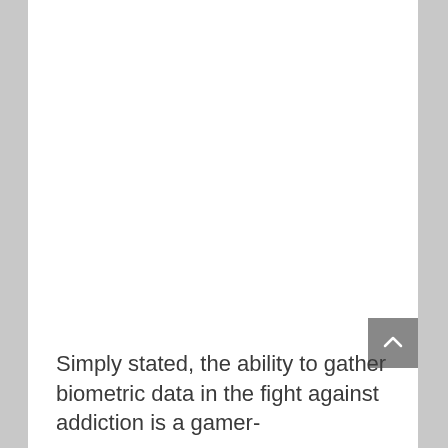Simply stated, the ability to gather biometric data in the fight against addiction is a gamer-